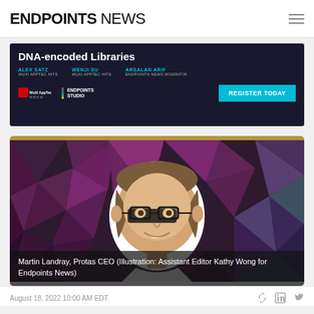ENDPOINTS NEWS
[Figure (screenshot): Advertisement banner for a WuXi AppTec / Endpoints Studio webinar on DNA-encoded Libraries, featuring speakers Alex Satz and Wenji Su (WuXi AppTec HITS) and Arsalan Arif (Endpoints News Moderator), with a REGISTER TODAY button in cyan.]
[Figure (illustration): Illustrated portrait of Martin Landray, Protas CEO, shown as a stylized cartoon illustration against a dark geometric polygon background in shades of purple, grey and black.]
Martin Landray, Protas CEO (Illustration: Assistant Editor Kathy Wong for Endpoints News)
August 18, 2022 10:00 AM EDT